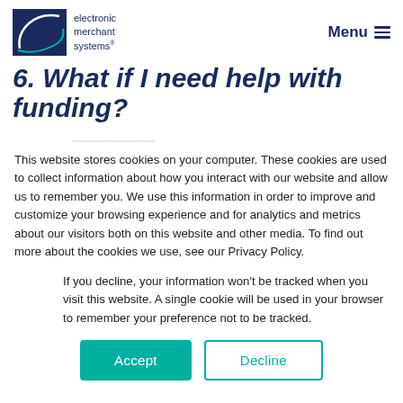electronic merchant systems — Menu
6. What if I need help with funding?
This website stores cookies on your computer. These cookies are used to collect information about how you interact with our website and allow us to remember you. We use this information in order to improve and customize your browsing experience and for analytics and metrics about our visitors both on this website and other media. To find out more about the cookies we use, see our Privacy Policy.
If you decline, your information won't be tracked when you visit this website. A single cookie will be used in your browser to remember your preference not to be tracked.
Accept   Decline